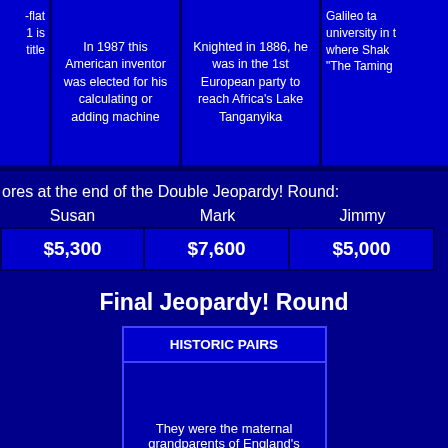-flat 1 is title
In 1987 this American inventor was elected for his calculating or adding machine
Knighted in 1886, he was in the 1st European party to reach Africa's Lake Tanganyika
Galileo ta university in t where Shak "The Taming
ores at the end of the Double Jeopardy! Round:
| Susan | Mark | Jimmy |
| --- | --- | --- |
| $5,300 | $7,600 | $5,000 |
Final Jeopardy! Round
HISTORIC PAIRS
They were the maternal grandparents of England's Queen Mary I